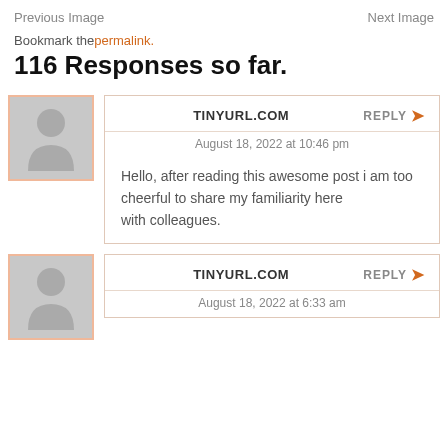Previous Image   Next Image
Bookmark the permalink.
116 Responses so far.
TINYURL.COM   REPLY
August 18, 2022 at 10:46 pm
Hello, after reading this awesome post i am too cheerful to share my familiarity here
with colleagues.
TINYURL.COM   REPLY
August 18, 2022 at 6:33 am